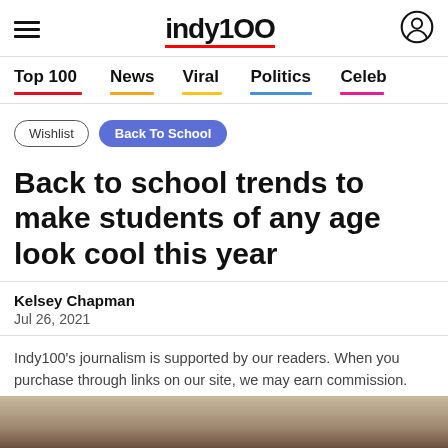indy100
Top 100  News  Viral  Politics  Celeb
Wishlist
Back To School
Back to school trends to make students of any age look cool this year
Kelsey Chapman
Jul 26, 2021
Indy100's journalism is supported by our readers. When you purchase through links on our site, we may earn commission.
[Figure (photo): Bottom strip showing partial image of a student]